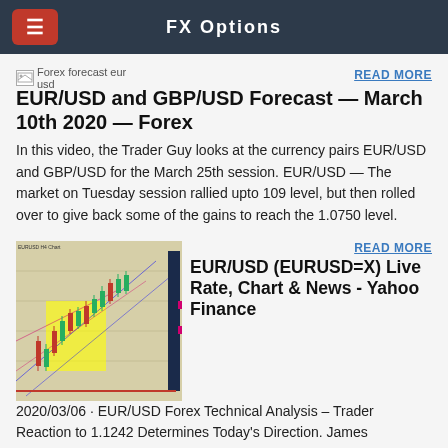FX Options
[Figure (photo): Broken image icon for Forex forecast eur usd]
READ MORE
EUR/USD and GBP/USD Forecast — March 10th 2020 — Forex
In this video, the Trader Guy looks at the currency pairs EUR/USD and GBP/USD for the March 25th session. EUR/USD — The market on Tuesday session rallied upto 109 level, but then rolled over to give back some of the gains to reach the 1.0750 level.
[Figure (screenshot): EUR/USD forex chart showing candlestick price action with yellow highlighted area and trend lines]
READ MORE
EUR/USD (EURUSD=X) Live Rate, Chart & News - Yahoo Finance
2020/03/06 · EUR/USD Forex Technical Analysis – Trader Reaction to 1.1242 Determines Today's Direction. James Hyerczyk. FX Empire. EUR/USD Daily Forecast: Euro Bulls Back to Test 200...